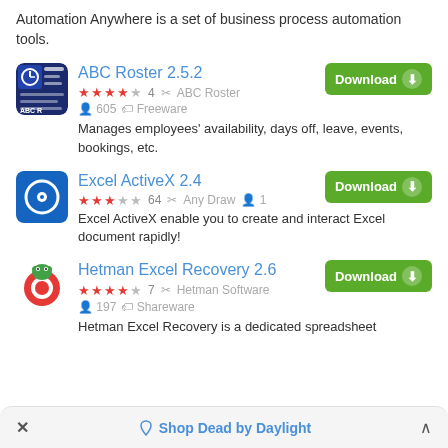Automation Anywhere is a set of business process automation tools.
ABC Roster 2.5.2
★★★★☆ 4  ✂ ABC Roster   👤 605  🏷 Freeware
Manages employees' availability, days off, leave, events, bookings, etc.
Excel ActiveX 2.4
★★★☆☆ 64  ✂ Any Draw  👤 1
Excel ActiveX enable you to create and interact Excel document rapidly!
Hetman Excel Recovery 2.6
★★★★☆ 7  ✂ Hetman Software   👤 197  🏷 Shareware
Hetman Excel Recovery is a dedicated spreadsheet
✕  Shop Dead by Daylight  ^